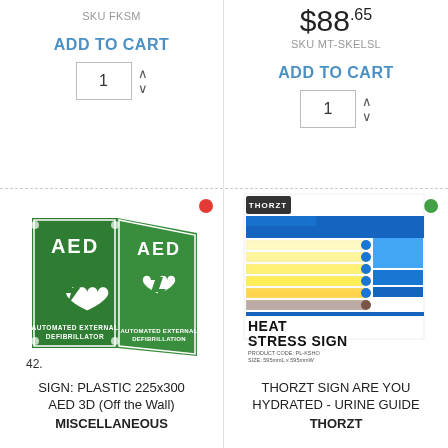SKU FKSM
ADD TO CART
1
$88.65
SKU MT-SKELSL
ADD TO CART
1
[Figure (photo): AED 3D sign - green plastic sign showing AED with heart and lightning bolt symbol, text 'AUTOMATED EXTERNAL DEFIBRILLATOR', 3D double-sided wall mounting. Item number 42.]
[Figure (photo): THORZT Heat Stress Sign product image showing a chart/guide about hydration with blue and yellow color scheme. Text: HEAT STRESS SIGN. PRODUCT CODE: PL-KSHO. SIZE: 595mmL x 595mmW]
SIGN: PLASTIC 225x300 AED 3D (Off the Wall)
MISCELLANEOUS
THORZT SIGN ARE YOU HYDRATED - URINE GUIDE
THORZT